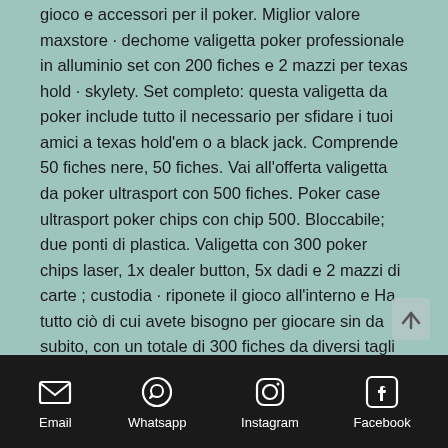gioco e accessori per il poker. Miglior valore maxstore · dechome valigetta poker professionale in alluminio set con 200 fiches e 2 mazzi per texas hold · skylety. Set completo: questa valigetta da poker include tutto il necessario per sfidare i tuoi amici a texas hold'em o a black jack. Comprende 50 fiches nere, 50 fiches. Vai all'offerta valigetta da poker ultrasport con 500 fiches. Poker case ultrasport poker chips con chip 500. Bloccabile; due ponti di plastica. Valigetta con 300 poker chips laser, 1x dealer button, 5x dadi e 2 mazzi di carte ; custodia · riponete il gioco all'interno e Ha tutto ciò di cui avete bisogno per giocare sin da subito, con un totale di 300 fiches da diversi tagli e colori, dadi, mazzi di carte e istruzioni per chi. Set: valigetta con 300 chips senza incisione del valore, 1. Fiches per il texas
Email  Whatsapp  Instagram  Facebook